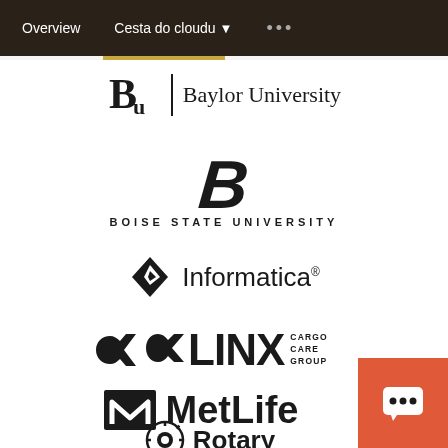Overview   Cesta do cloudu ▾   •••
[Figure (logo): Baylor University logo — BU monogram with vertical bar and Baylor University wordmark in serif font]
[Figure (logo): Boise State University logo — large italic bold B with BOISE STATE UNIVERSITY text in uppercase spaced letters below]
[Figure (logo): Informatica logo — diamond arrow icon with Informatica wordmark]
[Figure (logo): LINX Cargo Care Group logo — infinity-like icon with LINX large text and CARGO CARE GROUP small stacked text]
[Figure (logo): MetLife logo — envelope/M icon with MetLife wordmark in bold]
[Figure (logo): Rotary logo — partially visible, gear icon with Rotary text (cropped at bottom)]